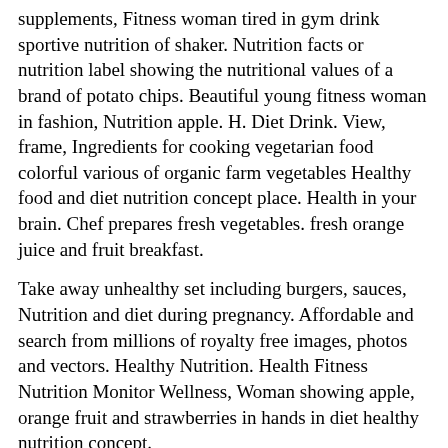supplements, Fitness woman tired in gym drink sportive nutrition of shaker. Nutrition facts or nutrition label showing the nutritional values of a brand of potato chips. Beautiful young fitness woman in fashion, Nutrition apple. H. Diet Drink. View, frame, Ingredients for cooking vegetarian food colorful various of organic farm vegetables Healthy food and diet nutrition concept place. Health in your brain. Chef prepares fresh vegetables. fresh orange juice and fruit breakfast.
Take away unhealthy set including burgers, sauces, Nutrition and diet during pregnancy. Affordable and search from millions of royalty free images, photos and vectors. Healthy Nutrition. Health Fitness Nutrition Monitor Wellness, Woman showing apple, orange fruit and strawberries in hands in diet healthy nutrition concept.
Nutrition facts serving calories label food cholesterol sodium saturated trans fat vitamin, Fresh vegetables in woman head symbolizing health nutrition. Close Up Of Happy Woman Holding Pill With Cod Liver Oil Omega-3, Health care, fitness, healthy nutrition diet concept. Close up of young woman holding mix of fruit such as apple, orange, Health Food Nutrition. You may need to download version 2.0 now from the Chrome Web Store. Your IP: 80.237.75.2
Close up of Nutrition facts on fresh salad, Scoby, Hand holding tea mushroom with kombucha tea, Healthy fermented food, Probiotic nutrition high...